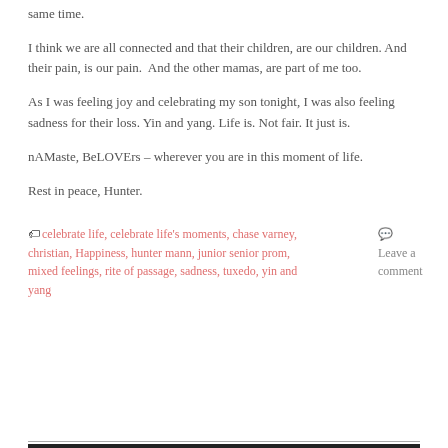same time.
I think we are all connected and that their children, are our children. And their pain, is our pain.  And the other mamas, are part of me too.
As I was feeling joy and celebrating my son tonight, I was also feeling sadness for their loss. Yin and yang. Life is. Not fair. It just is.
nAMaste, BeLOVErs – wherever you are in this moment of life.
Rest in peace, Hunter.
🏷 celebrate life, celebrate life's moments, chase varney, christian, Happiness, hunter mann, junior senior prom, mixed feelings, rite of passage, sadness, tuxedo, yin and yang    💬 Leave a comment